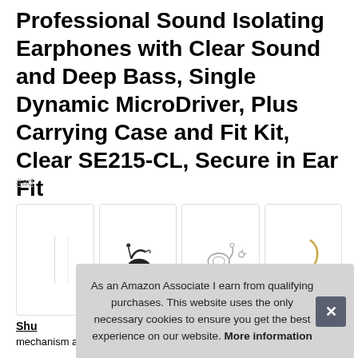Professional Sound Isolating Earphones with Clear Sound and Deep Bass, Single Dynamic MicroDriver, Plus Carrying Case and Fit Kit, Clear SE215-CL, Secure in Ear Fit
#ad
[Figure (photo): Row of four product thumbnail images showing earphones and accessories]
As an Amazon Associate I earn from qualifying purchases. This website uses the only necessary cookies to ensure you get the best experience on our website. More information
Shu
mechanism allowing 360-degree rotation for comfortable fit